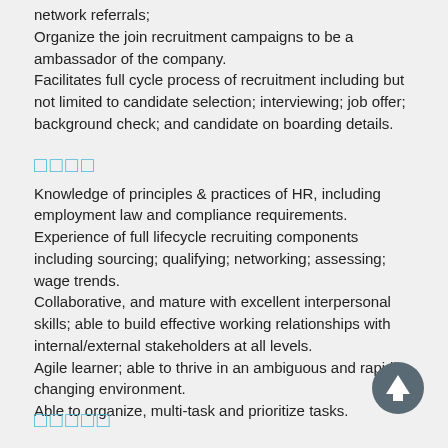network referrals;
Organize the join recruitment campaigns to be a ambassador of the company.
Facilitates full cycle process of recruitment including but not limited to candidate selection; interviewing; job offer; background check; and candidate on boarding details.
□□□□
Knowledge of principles & practices of HR, including employment law and compliance requirements.
Experience of full lifecycle recruiting components including sourcing; qualifying; networking; assessing; wage trends.
Collaborative, and mature with excellent interpersonal skills; able to build effective working relationships with internal/external stakeholders at all levels.
Agile learner; able to thrive in an ambiguous and rapidly changing environment.
Able to organize, multi-task and prioritize tasks.
□□□□□